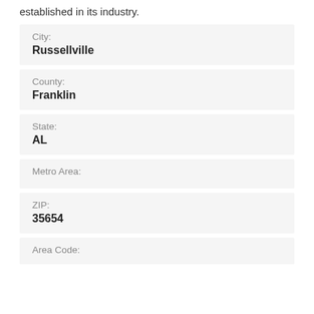established in its industry.
City:
Russellville
County:
Franklin
State:
AL
Metro Area:
ZIP:
35654
Area Code: